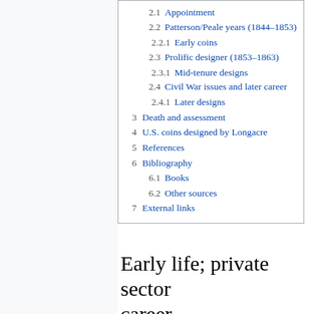2.1 Appointment
2.2 Patterson/Peale years (1844–1853)
2.2.1 Early coins
2.3 Prolific designer (1853–1863)
2.3.1 Mid-tenure designs
2.4 Civil War issues and later career
2.4.1 Later designs
3 Death and assessment
4 U.S. coins designed by Longacre
5 References
6 Bibliography
6.1 Books
6.2 Other sources
7 External links
Early life; private sector career